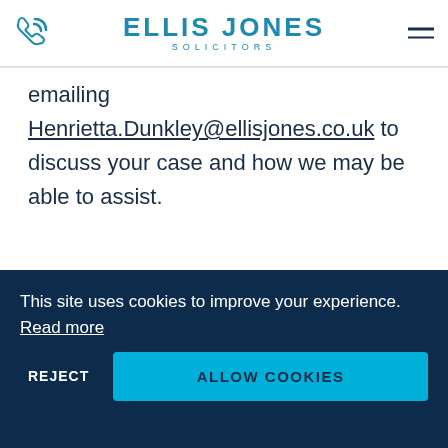ELLIS JONES SOLICITORS
emailing Henrietta.Dunkley@ellisjones.co.uk to discuss your case and how we may be able to assist.
DISPUTE RESOLUTION
[Figure (photo): Profile photo of a person in a circular frame]
This site uses cookies to improve your experience. Read more
REJECT   ALLOW COOKIES